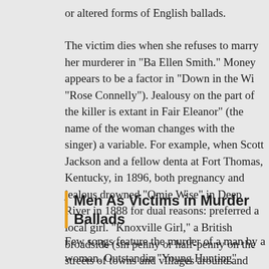or altered forms of English ballads.
The victim dies when she refuses to marry her murderer in "Ba Ellen Smith." Money appears to be a factor in "Down in the Wi "Rose Connelly"). Jealousy on the part of the killer is extant in Fair Eleanor" (the name of the woman changes with the singer) a variable. For example, when Scott Jackson and a fellow denta at Fort Thomas, Kentucky, in 1896, both pregnancy and jealous drowned "Omie Wise" in Deep River in 1888 for dual reasons: preferred a local girl. "Knoxville Girl," a British broadside (sin penny or half-penny on the streets of towns and villages around and early twentieth centuries) written in the early 1700s, contai lyrics in any folk song.
Men As Victims in Murder Ballads
Few songs feature the murder of a man by a woman. Outstandin "Young Hunting" (known in America as "Loving Henry" and "l